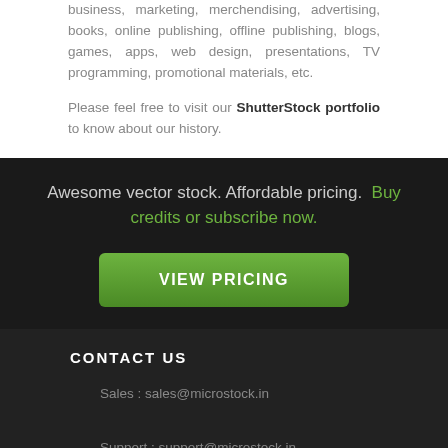business, marketing, merchendising, advertising, books, online publishing, offline publishing, blogs, games, apps, web design, presentations, TV programming, promotional materials, etc.
Please feel free to visit our ShutterStock portfolio to know about our history.
Awesome vector stock. Affordable pricing. Buy credits or subscribe now.
VIEW PRICING
CONTACT US
Sales : sales@microstock.in
Support : support@microstock.in